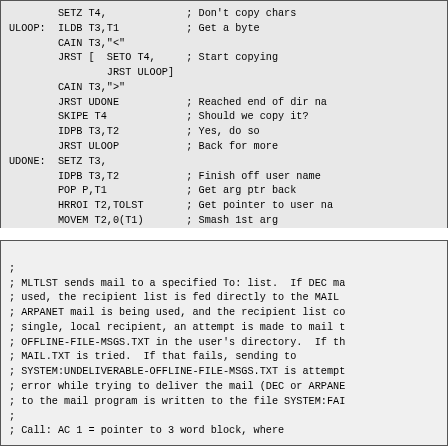ULOOP: ILDB T3,T1 ; Get a byte
       CAIN T3,"<"
       JRST [ SETO T4, ; Start copying
               JRST ULOOP]
       CAIN T3,">"
       JRST UDONE ; Reached end of dir na
       SKIPE T4 ; Should we copy it?
       IDPB T3,T2 ; Yes, do so
       JRST ULOOP ; Back for more
UDONE: SETZ T3,
       IDPB T3,T2 ; Finish off user name
       POP P,T1 ; Get arg ptr back
       HRROI T2,TOLST ; Get pointer to user na
       MOVEM T2,0(T1) ; Smash 1st arg
       JRST MTLST ; Go mail it
;
; MLTLST sends mail to a specified To: list. If DEC ma
; used, the recipient list is fed directly to the MAIL
; ARPANET mail is being used, and the recipient list co
; single, local recipient, an attempt is made to mail t
; OFFLINE-FILE-MSGS.TXT in the user's directory. If th
; MAIL.TXT is tried. If that fails, sending to
; SYSTEM:UNDELIVERABLE-OFFLINE-FILE-MSGS.TXT is attempt
; error while trying to deliver the mail (DEC or ARPANE
; to the mail program is written to the file SYSTEM:FAI
;
; Call: AC 1 = pointer to 3 word block, where